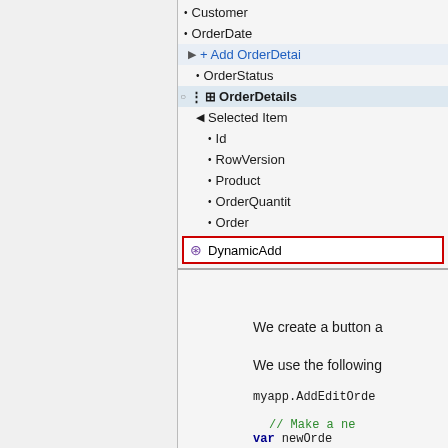[Figure (screenshot): IDE/designer tree view showing OrderDetails data source with items: Customer, OrderDate, Add OrderDetails (blue link), OrderStatus, OrderDetails (highlighted bold with grid icon), Selected Item group with Id, RowVersion, Product, OrderQuantity, Order sub-items, and DynamicAdd item with red border highlight. A gray property panel is visible at bottom right.]
We create a button a
We use the following
myapp.AddEditOrde
// Make a new